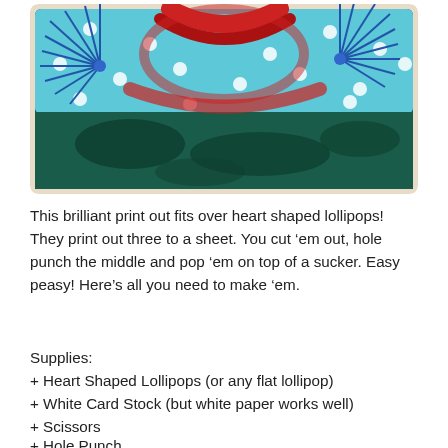[Figure (photo): Polaroid-style photo showing colorful artwork with blue paper pinwheels/fans, red ribbon or bicycle wheel elements, against a turquoise polka-dot background and dark teal/green lower section]
This brilliant print out fits over heart shaped lollipops! They print out three to a sheet. You cut ‘em out, hole punch the middle and pop ‘em on top of a sucker. Easy peasy! Here’s all you need to make ‘em.
Supplies:
+ Heart Shaped Lollipops (or any flat lollipop)
+ White Card Stock (but white paper works well)
+ Scissors
+ Hole Punch